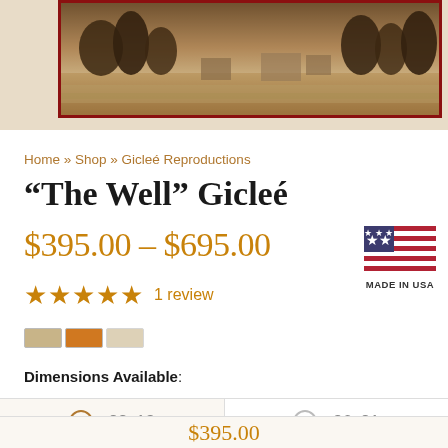[Figure (photo): Sepia-toned panoramic photograph of a rural landscape with trees and buildings in the distance, shown at the top of the page]
Home » Shop » Gicleé Reproductions
"The Well" Gicleé
$395.00 – $695.00
[Figure (illustration): Made in USA flag badge with American flag and text MADE IN USA]
★★★★★ 1 review
[Figure (illustration): Color swatch options row showing three swatches in tan, orange, and beige colors]
Dimensions Available:
22x13   36x21
$395.00